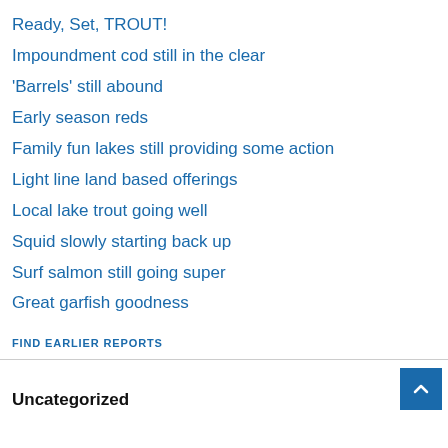Ready, Set, TROUT!
Impoundment cod still in the clear
‘Barrels’ still abound
Early season reds
Family fun lakes still providing some action
Light line land based offerings
Local lake trout going well
Squid slowly starting back up
Surf salmon still going super
Great garfish goodness
FIND EARLIER REPORTS
Uncategorized